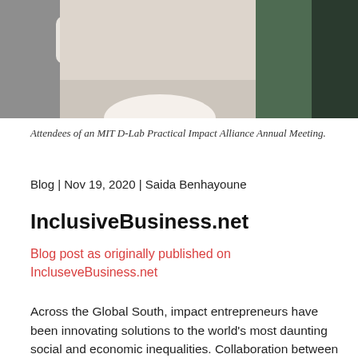[Figure (photo): Photo of attendees at an MIT D-Lab Practical Impact Alliance Annual Meeting, showing people in discussion around a table or whiteboard.]
Attendees of an MIT D-Lab Practical Impact Alliance Annual Meeting.
Blog | Nov 19, 2020 | Saida Benhayoune
InclusiveBusiness.net
Blog post as originally published on IncluseveBusiness.net
Across the Global South, impact entrepreneurs have been innovating solutions to the world's most daunting social and economic inequalities. Collaboration between rising social enterprises and large corporate, government, or development actors holds the promise of scaling these innovations. However, these hybrid partnerships are difficult to form and successfully manage.